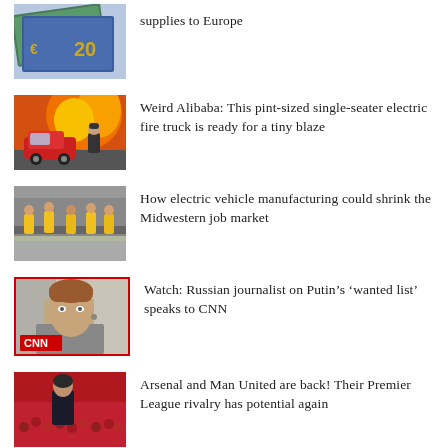[Figure (photo): Euro banknotes fanned out]
supplies to Europe
[Figure (photo): Small red electric fire truck with firefighter and flames in background]
Weird Alibaba: This pint-sized single-seater electric fire truck is ready for a tiny blaze
[Figure (photo): Factory workers in yellow vests on manufacturing floor]
How electric vehicle manufacturing could shrink the Midwestern job market
[Figure (photo): CNN video thumbnail of middle-aged man, CNN logo in red at bottom left]
Watch: Russian journalist on Putin’s ‘wanted list’ speaks to CNN
[Figure (photo): Man in dark jacket in front of stadium crowd in red]
Arsenal and Man United are back! Their Premier League rivalry has potential again
[Figure (photo): Partial thumbnail of person]
The Weeknd cancels concert after losing his